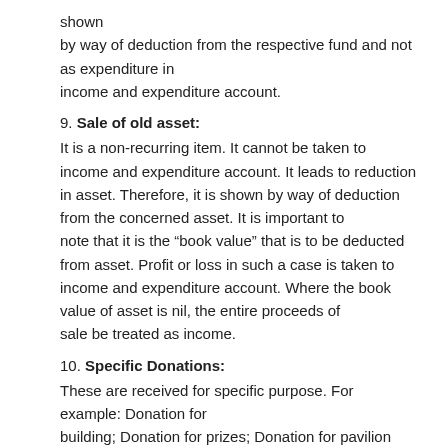shown by way of deduction from the respective fund and not as expenditure in income and expenditure account.
9. Sale of old asset:
It is a non-recurring item. It cannot be taken to income and expenditure account. It leads to reduction in asset. Therefore, it is shown by way of deduction from the concerned asset. It is important to note that it is the “book value” that is to be deducted from asset. Profit or loss in such a case is taken to income and expenditure account. Where the book value of asset is nil, the entire proceeds of sale be treated as income.
10. Specific Donations:
These are received for specific purpose. For example: Donation for building; Donation for prizes; Donation for pavilion etc. These are capital receipts and shown on liabilities side. It is worthy to note